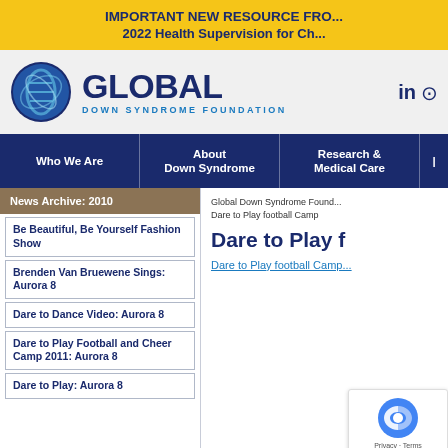IMPORTANT NEW RESOURCE FRO... 2022 Health Supervision for Ch...
[Figure (logo): Global Down Syndrome Foundation logo with circular DNA icon and text GLOBAL DOWN SYNDROME FOUNDATION]
[Figure (other): LinkedIn and Instagram social media icons]
Who We Are | About Down Syndrome | Research & Medical Care
News Archive: 2010
Be Beautiful, Be Yourself Fashion Show
Brenden Van Bruewene Sings: Aurora 8
Dare to Dance Video: Aurora 8
Dare to Play Football and Cheer Camp 2011: Aurora 8
Dare to Play: Aurora 8
Global Down Syndrome Found... Dare to Play football Camp
Dare to Play f
Dare to Play football Camp...